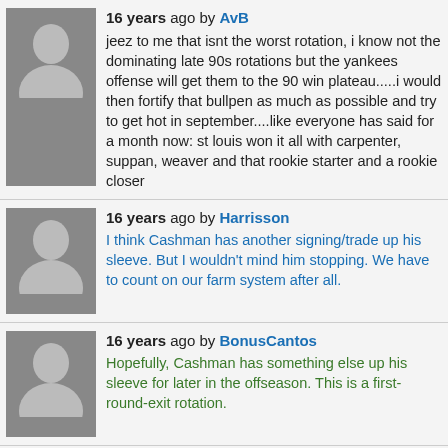16 years ago by AvB
jeez to me that isnt the worst rotation, i know not the dominating late 90s rotations but the yankees offense will get them to the 90 win plateau.....i would then fortify that bullpen as much as possible and try to get hot in september....like everyone has said for a month now: st louis won it all with carpenter, suppan, weaver and that rookie starter and a rookie closer
16 years ago by Harrisson
I think Cashman has another signing/trade up his sleeve. But I wouldn't mind him stopping. We have to count on our farm system after all.
16 years ago by BonusCantos
Hopefully, Cashman has something else up his sleeve for later in the offseason. This is a first-round-exit rotation.
16 years ago by MyYESNetwork
Where was this heard? There is no way I believe he is done.